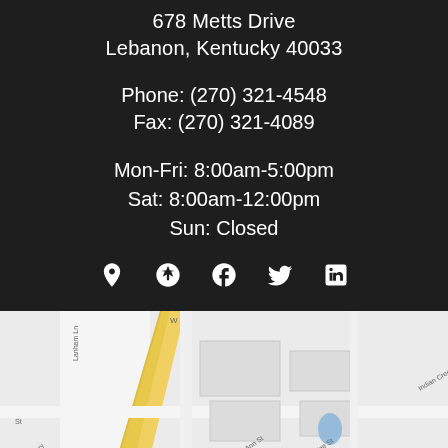678 Metts Drive
Lebanon, Kentucky 40033
Phone: (270) 321-4548
Fax: (270) 321-4089
Mon-Fri: 8:00am-5:00pm
Sat: 8:00am-12:00pm
Sun: Closed
[Figure (infographic): Social media icons row: map pin, Yelp, Facebook, Twitter, LinkedIn]
[Figure (map): Google Maps screenshot showing streets near 678 Metts Drive, Lebanon, Kentucky including Lanham Ln, St Ann St, St Catherine St, Indian Creek]